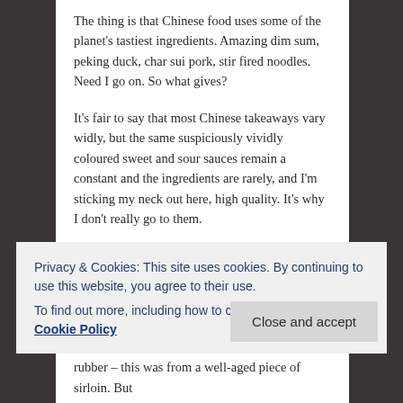The thing is that Chinese food uses some of the planet's tastiest ingredients. Amazing dim sum, peking duck, char sui pork, stir fired noodles. Need I go on. So what gives?
It's fair to say that most Chinese takeaways vary widly, but the same suspiciously vividly coloured sweet and sour sauces remain a constant and the ingredients are rarely, and I'm sticking my neck out here, high quality. It's why I don't really go to them.
And so, armed with my Ken Hom e-book, I've been setting out to try and make the Chinese food I know and love without the luminosity, MSG and hydrogenated fat.
Privacy & Cookies: This site uses cookies. By continuing to use this website, you agree to their use.
To find out more, including how to control cookies, see here: Cookie Policy
Close and accept
rubber – this was from a well-aged piece of sirloin. But